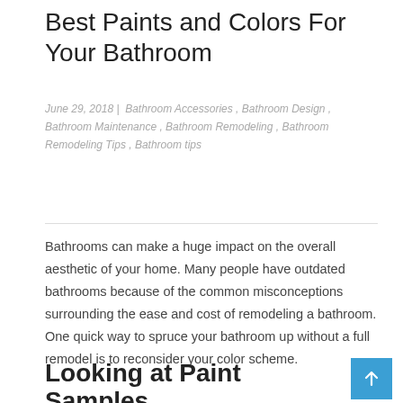Best Paints and Colors For Your Bathroom
June 29, 2018 |  Bathroom Accessories , Bathroom Design , Bathroom Maintenance , Bathroom Remodeling , Bathroom Remodeling Tips , Bathroom tips
Bathrooms can make a huge impact on the overall aesthetic of your home. Many people have outdated bathrooms because of the common misconceptions surrounding the ease and cost of remodeling a bathroom. One quick way to spruce your bathroom up without a full remodel is to reconsider your color scheme.
Looking at Paint Samples